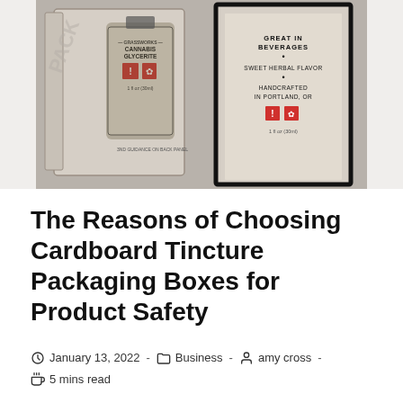[Figure (photo): Photo of cannabis glycerite tincture product in cardboard packaging boxes — two boxes shown side by side, one open revealing a small amber glass bottle labeled 'Cannabis Glycerite 1 fl oz (30ml)', the other showing 'Great in Beverages, Sweet Herbal Flavor, Handcrafted in Portland, OR, 1 fl oz (30ml)'. Both boxes have a kraft/linen texture with black border trim.]
The Reasons of Choosing Cardboard Tincture Packaging Boxes for Product Safety
January 13, 2022  ·  Business  ·  amy cross  ·  5 mins read
Cardboard has been in use as a packaging material...